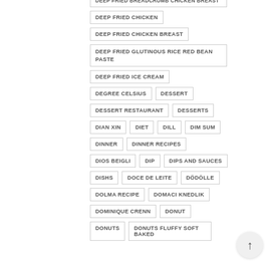DEEP FRIED BREADCRUMB CHICKEN BREAST
DEEP FRIED CHICKEN
DEEP FRIED CHICKEN BREAST
DEEP FRIED GLUTINOUS RICE RED BEAN PASTE
DEEP FRIED ICE CREAM
DEGREE CELSIUS
DESSERT
DESSERT RESTAURANT
DESSERTS
DIAN XIN
DIET
DILL
DIM SUM
DINNER
DINNER RECIPES
DIOS BEIGLI
DIP
DIPS AND SAUCES
DISHS
DOCE DE LEITE
DÖDÖLLE
DOLMA RECIPE
DOMACI KNEDLIK
DOMINIQUE CRENN
DONUT
DONUTS
DONUTS FLUFFY SOFT BAKED